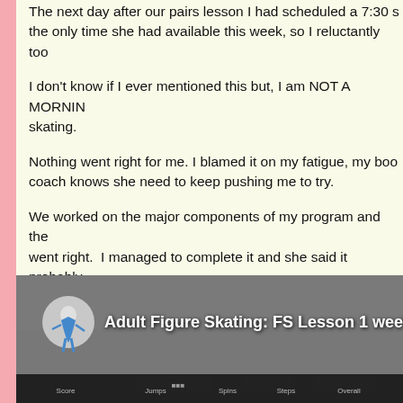The next day after our pairs lesson I had scheduled a 7:30 am lesson...the only time she had available this week, so I reluctantly too[k it].
I don't know if I ever mentioned this but, I am NOT A MORNING [PERSON for] skating.
Nothing went right for me. I blamed it on my fatigue, my boo[ts]... coach knows she need to keep pushing me to try.
We worked on the major components of my program and the[n]... went right. I managed to complete it and she said it probably... was having an off day. She said that was a good thing. If yo[u get] through on a bad day - chances are you will skate strong nex[t time].
I hope so.
[Figure (screenshot): YouTube video thumbnail showing a figure skater in blue costume on ice, with title 'Adult Figure Skating: FS Lesson 1 week bef[ore competition]']